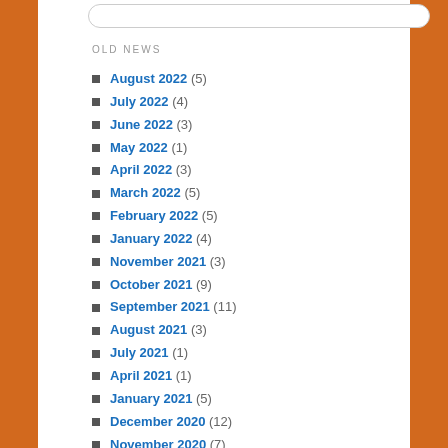OLD NEWS
August 2022 (5)
July 2022 (4)
June 2022 (3)
May 2022 (1)
April 2022 (3)
March 2022 (5)
February 2022 (5)
January 2022 (4)
November 2021 (3)
October 2021 (9)
September 2021 (11)
August 2021 (3)
July 2021 (1)
April 2021 (1)
January 2021 (5)
December 2020 (12)
November 2020 (7)
October 2020 (9)